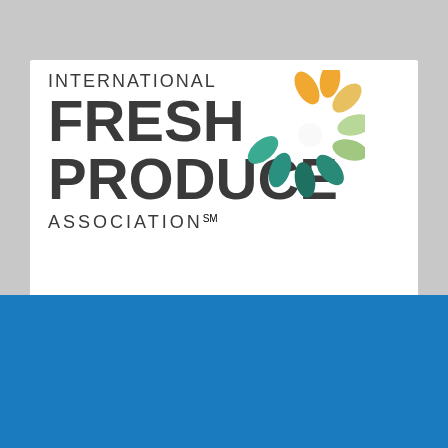[Figure (logo): International Fresh Produce Association logo with colorful petal/leaf circle motif in orange, green, teal colors]
People
IFPA announces new board of directors for
We use cookies on this site to enhance your user experience
By clicking the Accept button, you agree to us doing so.
Accept
No, thanks